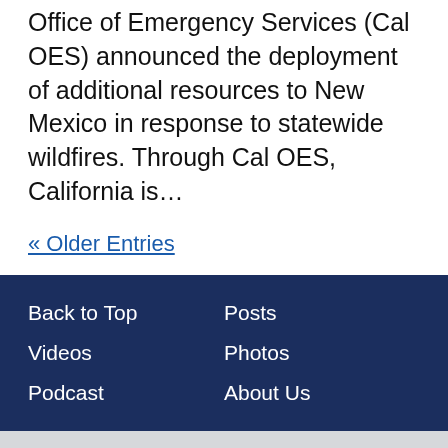Office of Emergency Services (Cal OES) announced the deployment of additional resources to New Mexico in response to statewide wildfires. Through Cal OES, California is…
« Older Entries
Back to Top | Videos | Podcast | Posts | Photos | About Us
Copyright © 2022 State of California